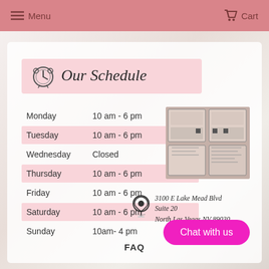Menu  Cart
Our Schedule
| Day | Hours |
| --- | --- |
| Monday | 10 am - 6 pm |
| Tuesday | 10 am - 6 pm |
| Wednesday | Closed |
| Thursday | 10 am - 6 pm |
| Friday | 10 am - 6 pm |
| Saturday | 10 am - 6 pm |
| Sunday | 10am- 4 pm |
[Figure (photo): Photo of business storefront/display panels]
3100 E Lake Mead Blvd
Suite 20
North Las Vegas NV 89030
Chat with us
FAQ